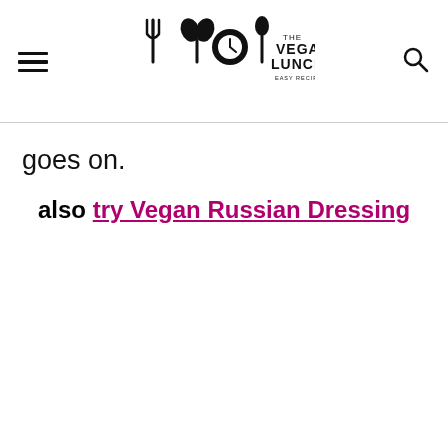THE VEGAN LUNCHBOX - EASY RECIPES & TIPS
goes on.
also try Vegan Russian Dressing